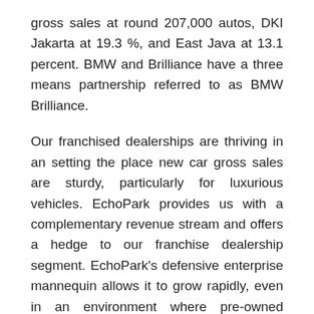gross sales at round 207,000 autos, DKI Jakarta at 19.3 %, and East Java at 13.1 percent. BMW and Brilliance have a three means partnership referred to as BMW Brilliance.
Our franchised dealerships are thriving in an setting the place new car gross sales are sturdy, particularly for luxurious vehicles. EchoPark provides us with a complementary revenue stream and offers a hedge to our franchise dealership segment. EchoPark's defensive enterprise mannequin allows it to grow rapidly, even in an environment where pre-owned automobile costs are declining. The Automotive Systems Technology program doesn't search out initiatives for its day or night curriculum classes.